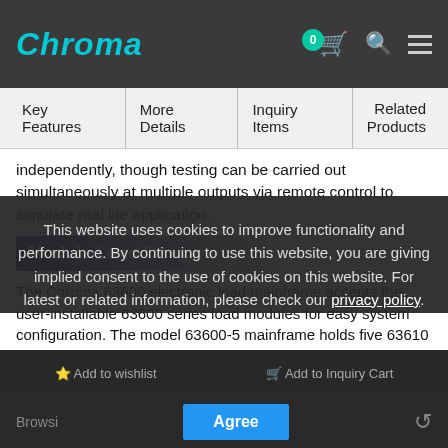Chroma [navigation: cart 0, search, menu]
Key Features | More Details | Inquiry Items | Related Products
independently, though testing can be carried out simultaneously at multiple outputs via remote control to simulate real life application.
Module Load Design
The Chroma 63600 electronic load mainframe accepts the user-installable 63600 series load modules for easy system configuration. The model 63600-5 mainframe holds five 63610 load modules to offer up to 10 100W load input channels with standard frontpanel inputs. The maximum power for a single mainframe is 1k0W when five 630...
This website uses cookies to improve functionality and performance. By continuing to use this website, you are giving implied consent to the use of cookies on this website. For latest or related information, please check our privacy policy.
Add to wishlist | Agree | Add to Inquiry Cart
Browsi... | Agree | ↺